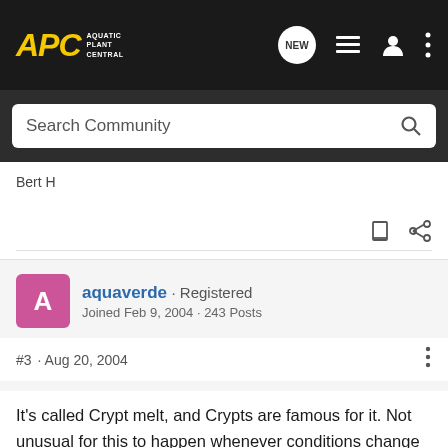[Figure (screenshot): APC Aquatic Plant Central navigation bar with logo, chat icon, menu icon, profile icon, and more options icon]
[Figure (screenshot): Search Community search bar with magnifying glass icon]
Bert H
aquaverde · Registered
Joined Feb 9, 2004 · 243 Posts
#3 · Aug 20, 2004
It's called Crypt melt, and Crypts are famous for it. Not unusual for this to happen whenever conditions change in the tank, or, when replanted after bought, etc. If the rootstock is good, it will grow back with no worries. The leaves disintegrate.